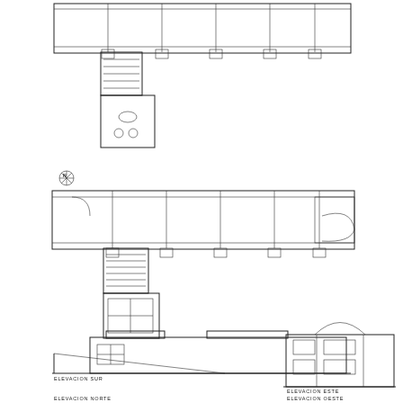[Figure (engineering-diagram): Architectural floor plans and elevations of a building. Top section shows two floor plan drawings (upper floor and ground floor) with north arrow indicator. Bottom section shows four elevation drawings: Elevacion Sur (south elevation), Elevacion Norte (north elevation), Elevacion Este (east elevation), and Elevacion Oeste (west elevation).]
ELEVACION SUR
ELEVACION ESTE
ELEVACION NORTE
ELEVACION OESTE